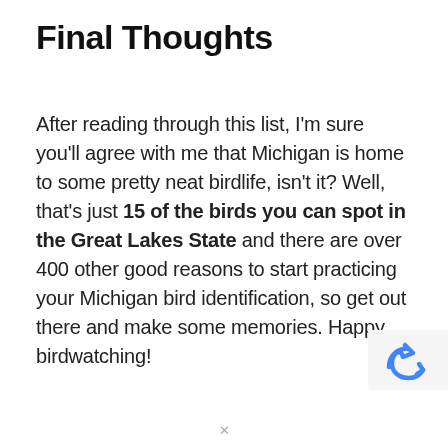Final Thoughts
After reading through this list, I'm sure you'll agree with me that Michigan is home to some pretty neat birdlife, isn't it? Well, that's just 15 of the birds you can spot in the Great Lakes State and there are over 400 other good reasons to start practicing your Michigan bird identification, so get out there and make some memories. Happy birdwatching!
[Figure (logo): Partial reCAPTCHA logo — blue curved arrow icon on light gray background, cropped at right edge of page]